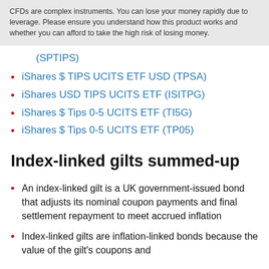CFDs are complex instruments. You can lose your money rapidly due to leverage. Please ensure you understand how this product works and whether you can afford to take the high risk of losing money.
(SPTIPS)
iShares $ TIPS UCITS ETF USD (TPSA)
iShares USD TIPS UCITS ETF (ISITPG)
iShares $ Tips 0-5 UCITS ETF (TI5G)
iShares $ Tips 0-5 UCITS ETF (TP05)
Index-linked gilts summed-up
An index-linked gilt is a UK government-issued bond that adjusts its nominal coupon payments and final settlement repayment to meet accrued inflation
Index-linked gilts are inflation-linked bonds because the value of the gilt's coupons and